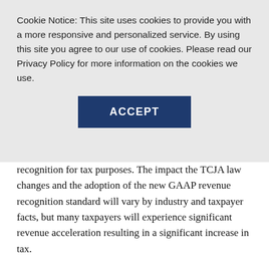Cookie Notice: This site uses cookies to provide you with a more responsive and personalized service. By using this site you agree to our use of cookies. Please read our Privacy Policy for more information on the cookies we use.
ACCEPT
recognition for tax purposes. The impact the TCJA law changes and the adoption of the new GAAP revenue recognition standard will vary by industry and taxpayer facts, but many taxpayers will experience significant revenue acceleration resulting in a significant increase in tax.
Revenue recognition after TCJA
Historically, accrual method taxpayers recognized revenue in the taxable year in which (1) all the events have occurred which fix the right to receive the income